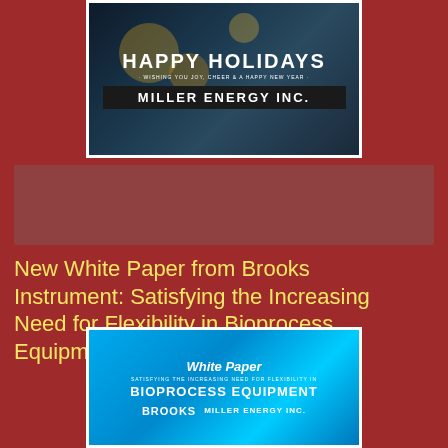[Figure (advertisement): Happy Holidays advertisement from Miller Energy Inc. with dark background and bokeh lights. Text reads: HAPPY HOLIDAYS, WISHING YOU JOY, CHEER & A HAPPY NEW YEAR, MILLER ENERGY INC.]
[Figure (other): Greyed-out/placeholder advertisement block]
New White Paper from Brooks Instrument: Satisfying the Increasing Need for Flexibility in Bioprocess Equipment
[Figure (advertisement): Brooks Instrument white paper advertisement with blue background. Text reads: White Paper, SATISFYING THE INCREASING NEED FOR FLEXIBILITY IN BIOPROCESS EQUIPMENT, BROOKS, MILLER ENERGY INC.]